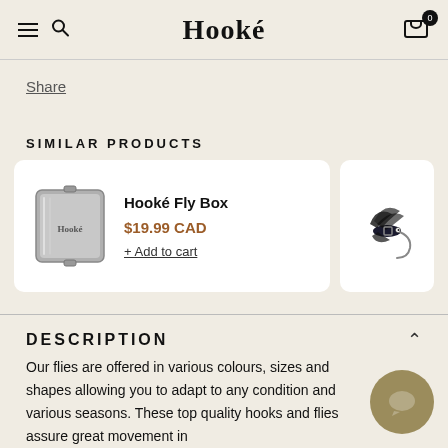Hooké — navigation header with menu, search, and cart
Share
SIMILAR PRODUCTS
[Figure (photo): Hooké Fly Box product image — silver metal fly box with Hooké branding]
Hooké Fly Box
$19.99 CAD
+ Add to cart
[Figure (photo): Fly fishing fly product image — dark feathered fly lure on white background]
DESCRIPTION
Our flies are offered in various colours, sizes and shapes allowing you to adapt to any condition and various seasons. These top quality hooks and flies assure great movement in